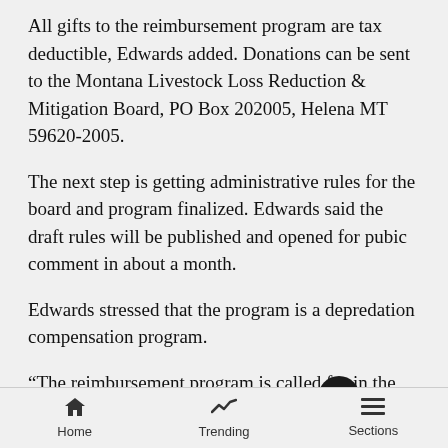All gifts to the reimbursement program are tax deductible, Edwards added. Donations can be sent to the Montana Livestock Loss Reduction & Mitigation Board, PO Box 202005, Helena MT 59620-2005.
The next step is getting administrative rules for the board and program finalized. Edwards said the draft rules will be published and opened for pubic comment in about a month.
Edwards stressed that the program is a depredation compensation program.
“The reimbursement program is called for in the state’s wolf management plan, but the board won’t get involved in wolf management decisions,” Edwards said. “We leave that to the experts at Fish, Wildlife and Parks.”
Home | Trending | Sections